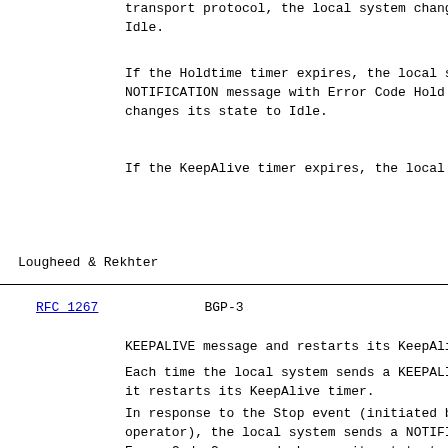transport protocol, the local system changes its state to Idle.
If the Holdtime timer expires, the local system sends a NOTIFICATION message with Error Code Hold Timer Expired and changes its state to Idle.
If the KeepAlive timer expires, the local system
Lougheed & Rekhter
RFC 1267                        BGP-3
KEEPALIVE message and restarts its KeepAlive timer.
Each time the local system sends a KEEPALIVE or it restarts its KeepAlive timer.
In response to the Stop event (initiated by either operator), the local system sends a NOTIFICATION with Error Code Cease and changes its state to Idle.
Start event is ignored in the Established state.
In response to any other event, the local system sends a NOTIFICATION message with Error Code Finite State